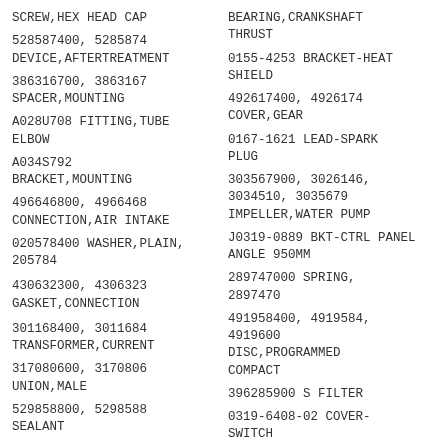SCREW,HEX HEAD CAP
BEARING,CRANKSHAFT THRUST
528587400, 5285874 DEVICE,AFTERTREATMENT
0155-4253 BRACKET-HEAT SHIELD
386316700, 3863167 SPACER,MOUNTING
492617400, 4926174 COVER,GEAR
A028U708 FITTING,TUBE ELBOW
0167-1621 LEAD-SPARK PLUG
A034S792 BRACKET,MOUNTING
303567900, 3026146, 3034510, 3035679 IMPELLER,WATER PUMP
496646800, 4966468 CONNECTION,AIR INTAKE
J0319-0889 BKT-CTRL PANEL ANGLE 950MM
020578400 WASHER,PLAIN, 205784
289747000 SPRING, 2897470
430632300, 4306323 GASKET,CONNECTION
491958400, 4919584, 4919600 DISC,PROGRAMMED COMPACT
301168400, 3011684 TRANSFORMER,CURRENT
396285900 S FILTER
317080600, 3170806 UNION,MALE
0319-6408-02 COVER-SWITCH
529858800, 5298588 SEALANT
300136300 SUPPORT,RADIATOR,